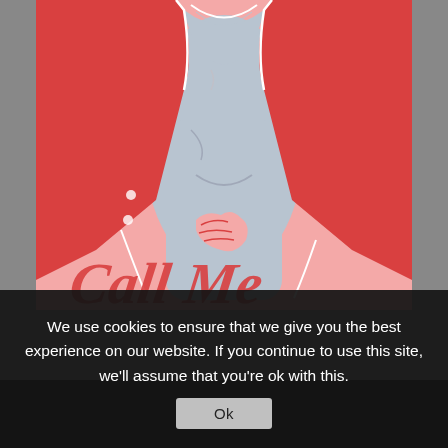[Figure (illustration): Illustration of a torso wearing an open red jacket over a light blue/grey top, on a pink background. Drawn in a flat graphic style with red and white line details.]
[Figure (illustration): Red cursive/script text partially visible at the bottom of the illustration area, reading something like 'Call Me' or similar.]
We use cookies to ensure that we give you the best experience on our website. If you continue to use this site, we'll assume that you're ok with this.
Ok